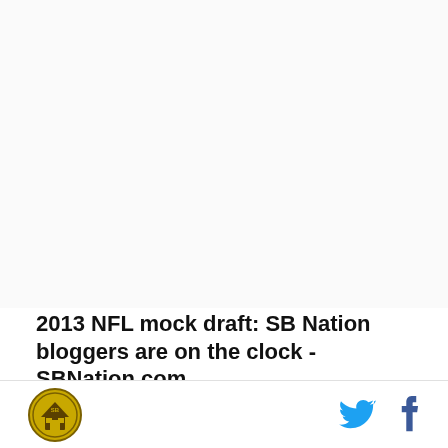[Figure (other): Large empty white/light gray image placeholder area at top of page]
2013 NFL mock draft: SB Nation bloggers are on the clock - SBNation.com
Keep up with the SBNation blogger mock draft here.
SB Nation logo, Twitter icon, Facebook icon